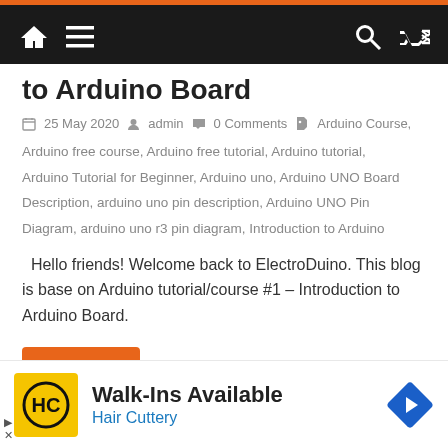Navigation bar with home, menu, search, shuffle icons
to Arduino Board
25 May 2020  admin  0 Comments  Arduino Course, Arduino free course, Arduino free tutorial, Arduino tutorial, Arduino Tutorial for Beginner, Arduino uno, Arduino UNO Board Description, arduino uno pin description, Arduino UNO Pin Diagram, arduino uno r3 pin diagram, Introduction to Arduino
Hello friends! Welcome back to ElectroDuino. This blog is base on Arduino tutorial/course #1 – Introduction to Arduino Board.
Read more
[Figure (other): Advertisement: Walk-Ins Available, Hair Cuttery with logo and navigation arrow icon]